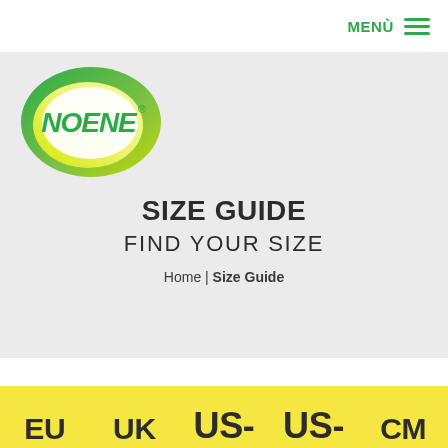MENÙ ☰
[Figure (logo): NOENE brand logo: oval shape with green-to-yellow gradient, white center, green italic text 'NOENE' with registered trademark symbol]
SIZE GUIDE
FIND YOUR SIZE
Home | Size Guide
| EU | UK | US- | US- | CM |
| --- | --- | --- | --- | --- |